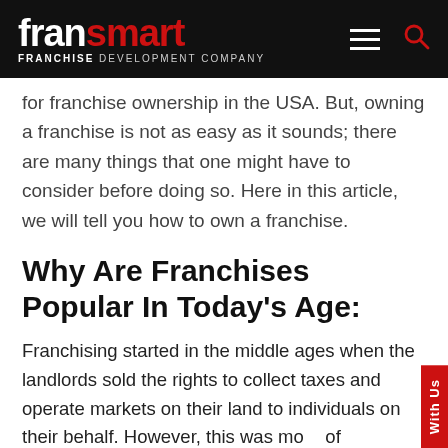FranSmart — FRANCHISE DEVELOPMENT COMPANY
for franchise ownership in the USA. But, owning a franchise is not as easy as it sounds; there are many things that one might have to consider before doing so. Here in this article, we will tell you how to own a franchise.
Why Are Franchises Popular In Today's Age:
Franchising started in the middle ages when the landlords sold the rights to collect taxes and operate markets on their land to individuals on their behalf. However, this was more of franchising of political activity. The modern-day